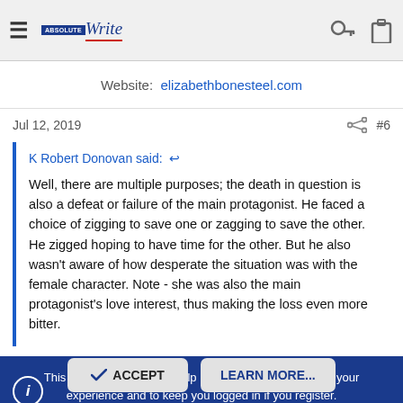≡ [AbsoluteWrite logo] Write
Website:  elizabethbonesteel.com
Jul 12, 2019  #6
K Robert Donovan said: ↩

Well, there are multiple purposes; the death in question is also a defeat or failure of the main protagonist. He faced a choice of zigging to save one or zagging to save the other. He zigged hoping to have time for the other. But he also wasn't aware of how desperate the situation was with the female character. Note - she was also the main protagonist's love interest, thus making the loss even more bitter.
This site uses cookies to help personalise content, tailor your experience and to keep you logged in if you register.
By continuing to use this site, you are consenting to our use of cookies.
✓ ACCEPT    LEARN MORE...